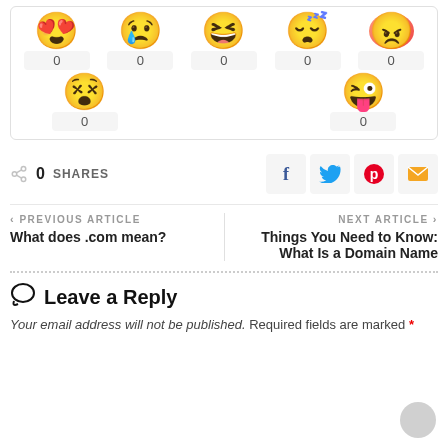[Figure (other): Emoji reaction panel with 7 emoji faces (love, sad, haha, sleepy, angry, confused/dizzy, silly/tongue) each with a count of 0 below them]
0 SHARES
[Figure (other): Social sharing buttons: Facebook (f), Twitter bird, Pinterest (p), Email envelope]
< PREVIOUS ARTICLE
What does .com mean?
NEXT ARTICLE >
Things You Need to Know: What Is a Domain Name
Leave a Reply
Your email address will not be published. Required fields are marked *